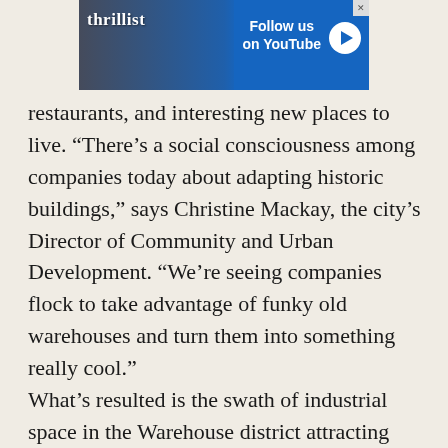[Figure (screenshot): Thrillist advertisement banner with blue background showing 'Follow us on YouTube' with a play button, and a photo of a person on the left side.]
restaurants, and interesting new places to live. “There’s a social consciousness among companies today about adapting historic buildings,” says Christine Mackay, the city’s Director of Community and Urban Development. “We’re seeing companies flock to take advantage of funky old warehouses and turn them into something really cool.”

What’s resulted is the swath of industrial space in the Warehouse district attracting tech heavyweights like WebPT and Galvanize, with small startups and coworking spaces popping up around them. You’ll find people on the sidewalks in the evenings, perhaps grabbing dinner at The Duce, famous for its punching bag and boxing ring inside. Logically